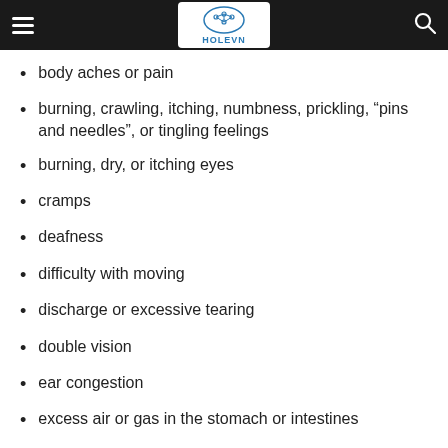HOLEVN
body aches or pain
burning, crawling, itching, numbness, prickling, “pins and needles”, or tingling feelings
burning, dry, or itching eyes
cramps
deafness
difficulty with moving
discharge or excessive tearing
double vision
ear congestion
excess air or gas in the stomach or intestines
feeling unusually cold